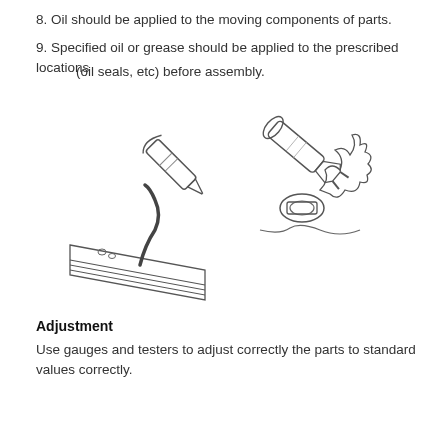8. Oil should be applied to the moving components of parts.
9. Specified oil or grease should be applied to the prescribed locations (oil seals, etc) before assembly.
[Figure (illustration): Two technical illustrations side by side: left shows a tube/syringe applying oil to a curved component/seal on a surface; right shows a grease tube/applicator applying grease to a mechanical part or seal, with grease shown squeezing out.]
Adjustment
Use gauges and testers to adjust correctly the parts to standard values correctly.